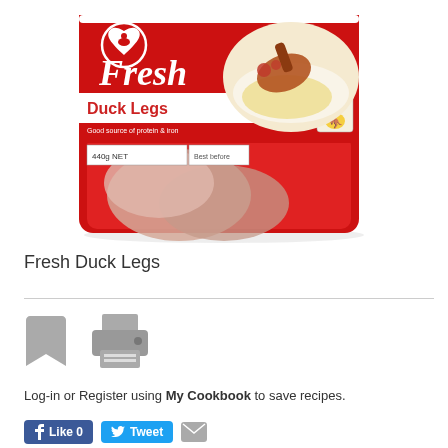[Figure (photo): Luv-A-Duck Fresh Duck Legs product packaging — a red plastic tray with two raw duck legs visible through clear film, topped with a label showing the Luv-A-Duck logo, the word 'Fresh' in white cursive script on red, 'Duck Legs' in dark red on white band, a product photo of cooked duck leg on mashed potato, '440g NET' and 'Product of Australia' kangaroo logo.]
Fresh Duck Legs
[Figure (infographic): Bookmark icon (grey) and Printer icon (grey) side by side]
Log-in or Register using My Cookbook to save recipes.
[Figure (infographic): Social sharing buttons: blue Facebook 'Like 0' button, blue Twitter 'Tweet' button, email icon]